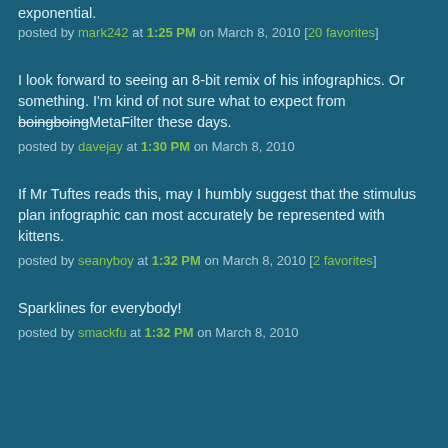exponential.
posted by mark242 at 1:25 PM on March 8, 2010 [20 favorites]
I look forward to seeing an 8-bit remix of his infographics. Or something. I'm kind of not sure what to expect from boingboingMetaFilter these days.
posted by davejay at 1:30 PM on March 8, 2010
If Mr Tuftes reads this, may I humbly suggest that the stimulus plan infographic can most accurately be represented with kittens.
posted by seanyboy at 1:32 PM on March 8, 2010 [2 favorites]
Sparklines for everybody!
posted by smackfu at 1:32 PM on March 8, 2010